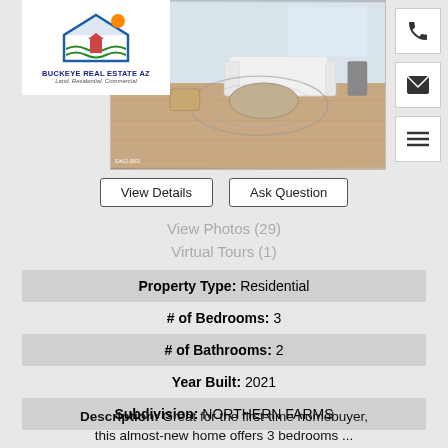[Figure (photo): Interior living room photo showing white sofa, coffee table, and hardwood floors]
[Figure (logo): Buckeye Real Estate AZ logo with house icon, Land, Residential, Commercial tagline]
View Details
Ask Question
View Photos (29)
Virtual Tours (1)
Property Type: Residential
# of Bedrooms: 3
# of Bathrooms: 2
Year Built: 2021
Subdivision: NORTHERN FARMS
Description: Great for the first-time homebuyer, this almost-new home offers 3 bedrooms ...